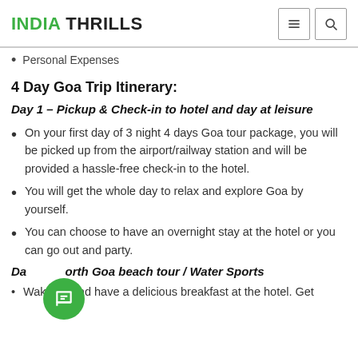INDIA THRILLS
Personal Expenses
4 Day Goa Trip Itinerary:
Day 1 – Pickup & Check-in to hotel and day at leisure
On your first day of 3 night 4 days Goa tour package, you will be picked up from the airport/railway station and will be provided a hassle-free check-in to the hotel.
You will get the whole day to relax and explore Goa by yourself.
You can choose to have an overnight stay at the hotel or you can go out and party.
Da... orth Goa beach tour / Water Sports
Wake up and have a delicious breakfast at the hotel. Get...